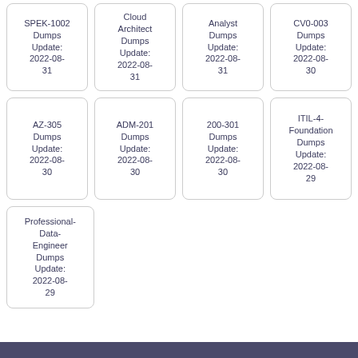SPEK-1002 Dumps Update: 2022-08-31
Cloud Architect Dumps Update: 2022-08-31
Analyst Dumps Update: 2022-08-31
CV0-003 Dumps Update: 2022-08-30
AZ-305 Dumps Update: 2022-08-30
ADM-201 Dumps Update: 2022-08-30
200-301 Dumps Update: 2022-08-30
ITIL-4-Foundation Dumps Update: 2022-08-29
Professional-Data-Engineer Dumps Update: 2022-08-29